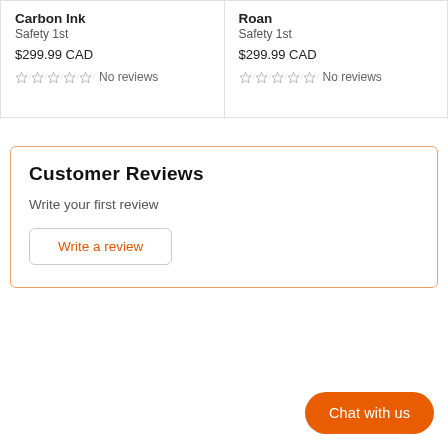Carbon Ink
Safety 1st
$299.99 CAD
No reviews
Roan
Safety 1st
$299.99 CAD
No reviews
Customer Reviews
Write your first review
Write a review
Chat with us